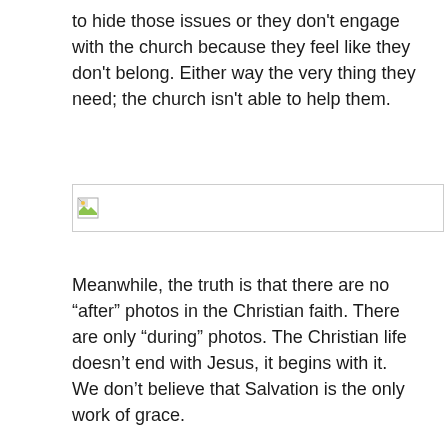to hide those issues or they don't engage with the church because they feel like they don't belong. Either way the very thing they need; the church isn't able to help them.
[Figure (photo): Broken/missing image placeholder]
Meanwhile, the truth is that there are no “after” photos in the Christian faith. There are only “during” photos. The Christian life doesn’t end with Jesus, it begins with it. We don’t believe that Salvation is the only work of grace.